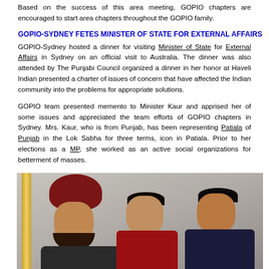Based on the success of this area meeting, GOPIO chapters are encouraged to start area chapters throughout the GOPIO family.
GOPIO-SYDNEY FETES MINISTER OF STATE FOR EXTERNAL AFFAIRS
GOPIO-Sydney hosted a dinner for visiting Minister of State for External Affairs in Sydney on an official visit to Australia. The dinner was also attended by The Punjabi Council organized a dinner in her honor at Haveli Indian presented a charter of issues of concern that have affected the Indian community into the problems for appropriate solutions.
GOPIO team presented memento to Minister Kaur and apprised her of some issues and appreciated the team efforts of GOPIO chapters in Sydney. Mrs. Kaur, who is from Punjab, has been representing Patiala of Punjab in the Lok Sabha for three terms, icon in Patiala. Prior to her elections as a MP, she worked as an active social organizations for betterment of masses.
[Figure (photo): Group photo at the GOPIO-Sydney dinner event showing three people: a man wearing a dark red turban on the left, a woman in the center, and a man on the right, likely taken at the Haveli Indian restaurant.]